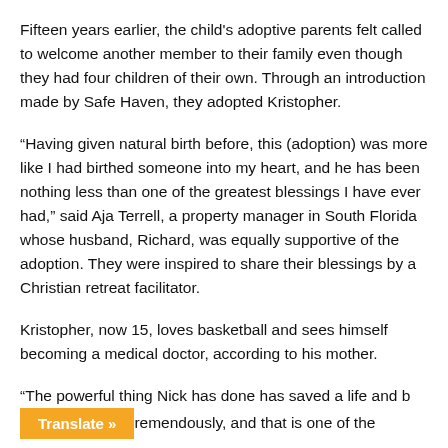Fifteen years earlier, the child's adoptive parents felt called to welcome another member to their family even though they had four children of their own. Through an introduction made by Safe Haven, they adopted Kristopher.
“Having given natural birth before, this (adoption) was more like I had birthed someone into my heart, and he has been nothing less than one of the greatest blessings I have ever had,” said Aja Terrell, a property manager in South Florida whose husband, Richard, was equally supportive of the adoption. They were inspired to share their blessings by a Christian retreat facilitator.
Kristopher, now 15, loves basketball and sees himself becoming a medical doctor, according to his mother.
“The powerful thing Nick has done has saved a life and b[Translate »]remendously, and that is one of the